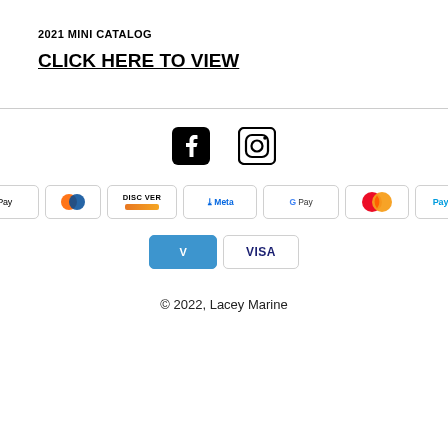2021 MINI CATALOG
CLICK HERE TO VIEW
[Figure (logo): Facebook and Instagram social media icons]
[Figure (logo): Payment method logos: American Express, Apple Pay, Diners Club, Discover, Meta Pay, Google Pay, Mastercard, PayPal, Shop Pay, Venmo, Visa]
© 2022, Lacey Marine